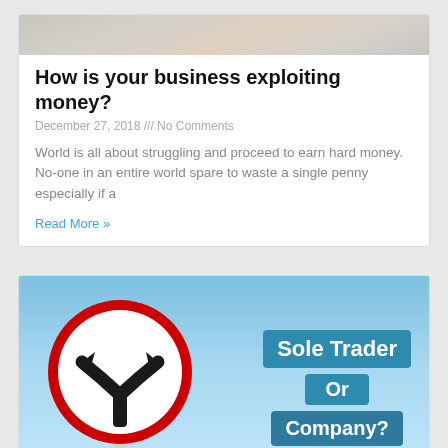[Figure (photo): Partial top image of a business/money related photo with gavel and financial documents, cropped at top]
How is your business exploiting money?
December 27, 2018 /// No Comments
World is all about struggling and proceed to earn hard money. No-one in an entire world spare to waste a single penny especially if a
Read More »
[Figure (photo): Road sign showing a Y-junction with arrows pointing left and right inside a red circle, on a blue sky background, with text overlay reading 'Sole Trader Or Company?']